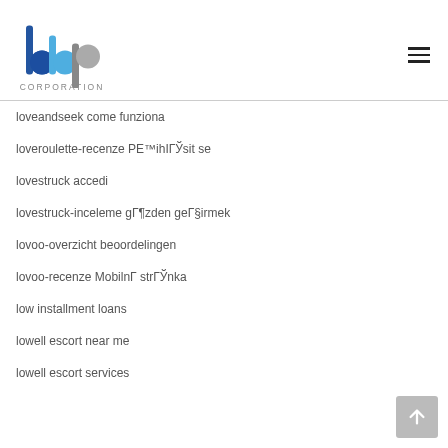[Figure (logo): BBP Corporation logo with blue and grey letters and CORPORATION text below]
loveandseek come funziona
loveroulette-recenze PE™ihIГЎsit se
lovestruck accedi
lovestruck-inceleme gГ¶zden geГ§irmek
lovoo-overzicht beoordelingen
lovoo-recenze MobilnГ strГЎnka
low installment loans
lowell escort near me
lowell escort services